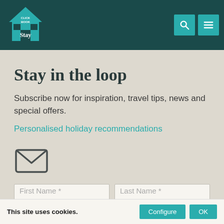[Figure (logo): Click Book Stay logo — teal house icon with 'CLICK BOOK Stay' text, on dark teal navigation bar with search and menu icons]
Stay in the loop
Subscribe now for inspiration, travel tips, news and special offers.
Personalised holiday recommendations
[Figure (illustration): Email envelope icon in dark grey outline]
First Name *
Last Name *
This site uses cookies.   Configure   OK